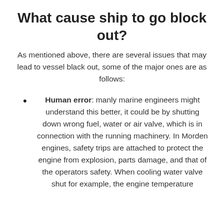What cause ship to go block out?
As mentioned above, there are several issues that may lead to vessel black out, some of the major ones are as follows:
Human error: manly marine engineers might understand this better, it could be by shutting down wrong fuel, water or air valve, which is in connection with the running machinery. In Morden engines, safety trips are attached to protect the engine from explosion, parts damage, and that of the operators safety. When cooling water valve shut for example, the engine temperature